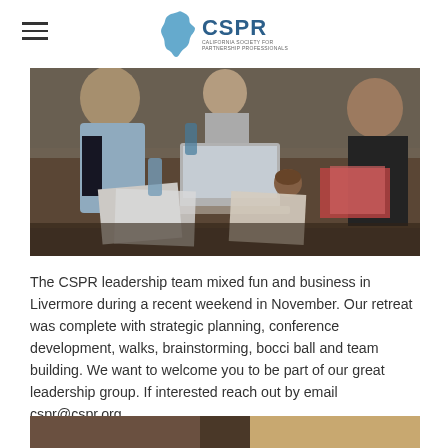CSPR — California Society for Public Relations
[Figure (photo): Group of people sitting around a wooden table with laptops, papers, and notebooks during a leadership retreat meeting.]
The CSPR leadership team mixed fun and business in Livermore during a recent weekend in November. Our retreat was complete with strategic planning, conference development, walks, brainstorming, bocci ball and team building. We want to welcome you to be part of our great leadership group. If interested reach out by email cspr@cspr.org.
[Figure (photo): Partial view of another photo at the bottom of the page, partially cropped.]